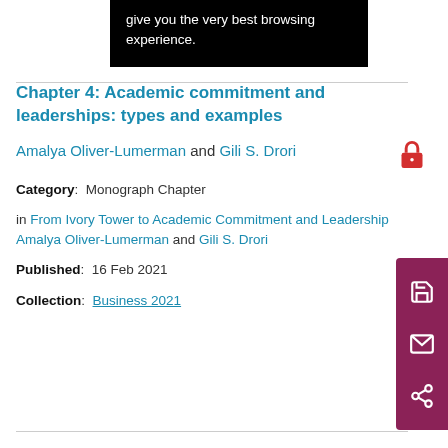give you the very best browsing experience.
Chapter 4: Academic commitment and leaderships: types and examples
Amalya Oliver-Lumerman and Gili S. Drori
Category:  Monograph Chapter
in From Ivory Tower to Academic Commitment and Leadership Amalya Oliver-Lumerman and Gili S. Drori
Published:  16 Feb 2021
Collection:  Business 2021